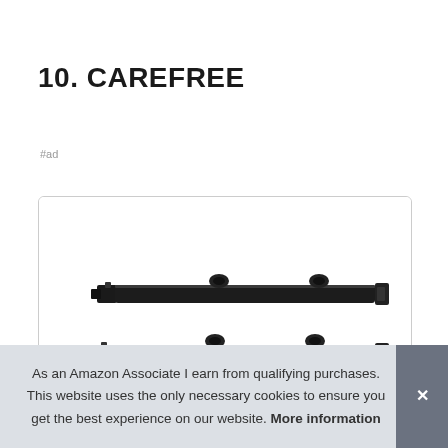10. CAREFREE
#ad
[Figure (photo): Product image showing two black awning roller/rail assemblies stacked, inside a rounded-corner card border.]
As an Amazon Associate I earn from qualifying purchases. This website uses the only necessary cookies to ensure you get the best experience on our website. More information